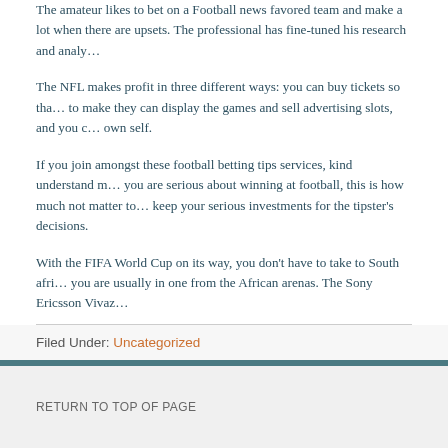The amateur likes to bet on a Football news favored team and make a lot when there are upsets. The professional has fine-tuned his research and analy…
The NFL makes profit in three different ways: you can buy tickets so tha… to make they can display the games and sell advertising slots, and you o… own self.
If you join amongst these football betting tips services, kind understand m… you are serious about winning at football, this is how much not matter to… keep your serious investments for the tipster's decisions.
With the FIFA World Cup on its way, you don't have to take to South afri… you are usually in one from the African arenas. The Sony Ericsson Vivaz…
Filed Under: Uncategorized
RETURN TO TOP OF PAGE